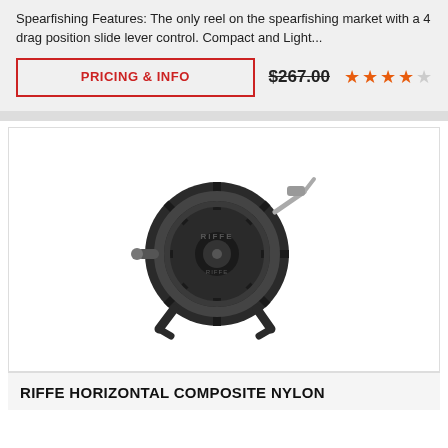Spearfishing Features: The only reel on the spearfishing market with a 4 drag position slide lever control. Compact and Light...
PRICING & INFO
$267.00
[Figure (photo): Black spearfishing reel - RIFFE brand, circular black composite reel with handle and attachment clips]
RIFFE HORIZONTAL COMPOSITE NYLON